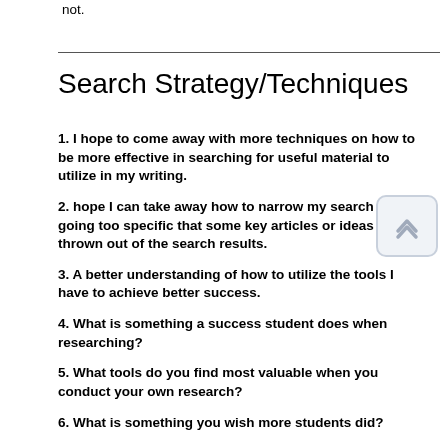not.
Search Strategy/Techniques
1. I hope to come away with more techniques on how to be more effective in searching for useful material to utilize in my writing.
2. hope I can take away how to narrow my search without going too specific that some key articles or ideas are thrown out of the search results.
3. A better understanding of how to utilize the tools I have to achieve better success.
4. What is something a success student does when researching?
5. What tools do you find most valuable when you conduct your own research?
6. What is something you wish more students did?